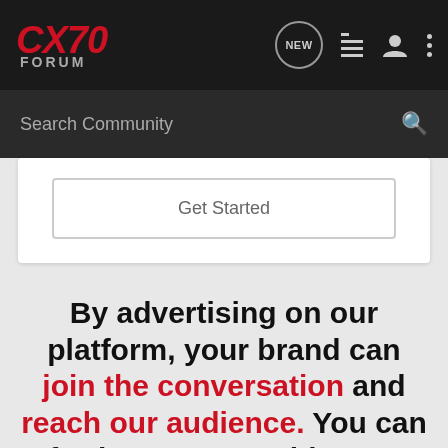CX70 FORUM
Search Community
Get Started
By advertising on our platform, your brand can join the conversation and reach our audience. You can further engage with your target